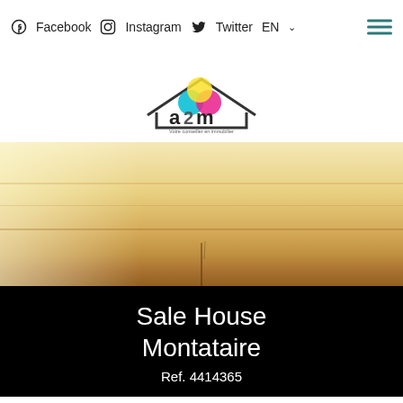Facebook  Instagram  Twitter  EN
[Figure (logo): a2m logo - house outline with colorful circles (cyan, magenta, yellow) above 'a2m' text, tagline 'Votre conseiller en immobilier']
[Figure (photo): Interior photo of wooden floor/table surface with warm tan/golden tones, crack visible at bottom center]
Sale House Montataire
Ref. 4414365